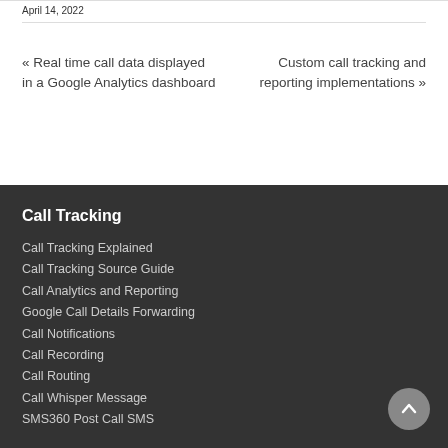April 14, 2022
« Real time call data displayed in a Google Analytics dashboard
Custom call tracking and reporting implementations »
Call Tracking
Call Tracking Explained
Call Tracking Source Guide
Call Analytics and Reporting
Google Call Details Forwarding
Call Notifications
Call Recording
Call Routing
Call Whisper Message
SMS360 Post Call SMS